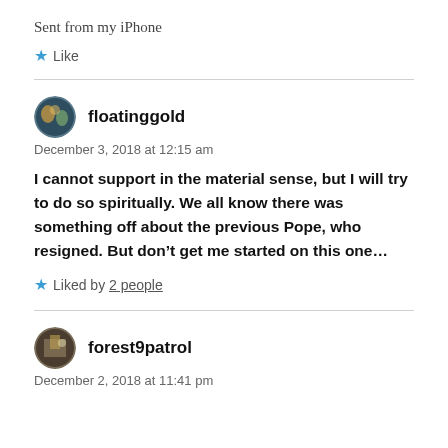Sent from my iPhone
Like
floatinggold
December 3, 2018 at 12:15 am
I cannot support in the material sense, but I will try to do so spiritually. We all know there was something off about the previous Pope, who resigned. But don’t get me started on this one…
Liked by 2 people
forest9patrol
December 2, 2018 at 11:41 pm